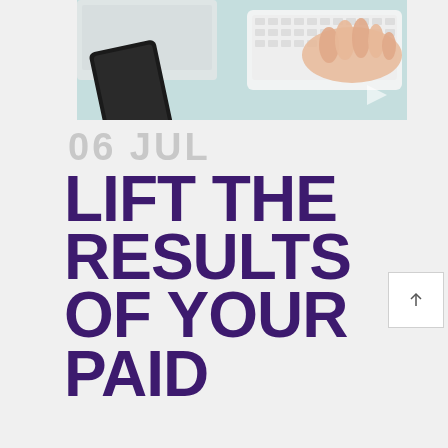[Figure (photo): Photo of a person's hands typing on a white keyboard, with a smartphone placed on a light blue/teal desk surface. A laptop is partially visible in the background.]
06 JUL
LIFT THE RESULTS OF YOUR PAID